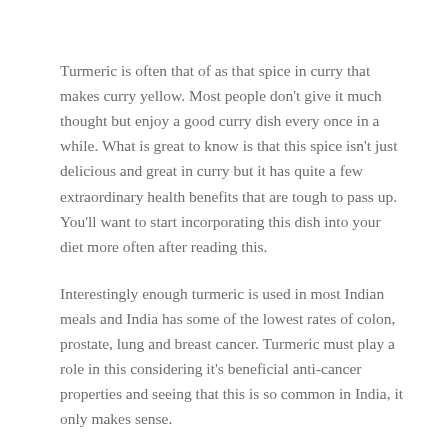Turmeric is often that of as that spice in curry that makes curry yellow. Most people don't give it much thought but enjoy a good curry dish every once in a while. What is great to know is that this spice isn't just delicious and great in curry but it has quite a few extraordinary health benefits that are tough to pass up. You'll want to start incorporating this dish into your diet more often after reading this.
Interestingly enough turmeric is used in most Indian meals and India has some of the lowest rates of colon, prostate, lung and breast cancer. Turmeric must play a role in this considering it's beneficial anti-cancer properties and seeing that this is so common in India, it only makes sense.
One of the main reasons turmeric is so beneficial